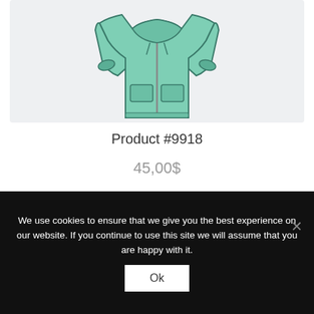[Figure (illustration): Illustration of a mint/teal green zip-up hoodie sweatshirt on a light gray background]
Product #9918
45,00$
ADD TO CART
We use cookies to ensure that we give you the best experience on our website. If you continue to use this site we will assume that you are happy with it.
Ok